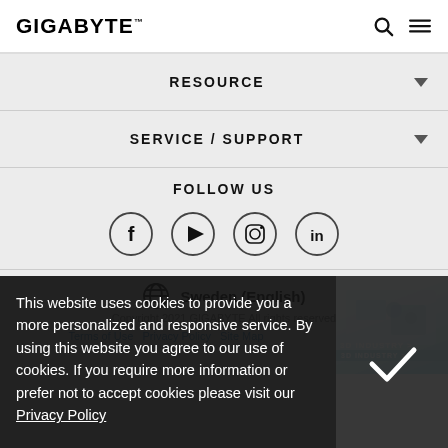GIGABYTE
RESOURCE
SERVICE / SUPPORT
FOLLOW US
[Figure (illustration): Four social media icons in circles: Facebook (f), YouTube play button, Instagram camera, LinkedIn (in)]
Sweden (English)
[Figure (illustration): 3D Industry banner in bottom right corner with isometric computer hardware image]
This website uses cookies to provide you a more personalized and responsive service. By using this website you agree to our use of cookies. If you require more information or prefer not to accept cookies please visit our Privacy Policy.
Copyright 2021 GIGABYTE All rights reserved
Terms of Use  Privacy Policy  Site Map